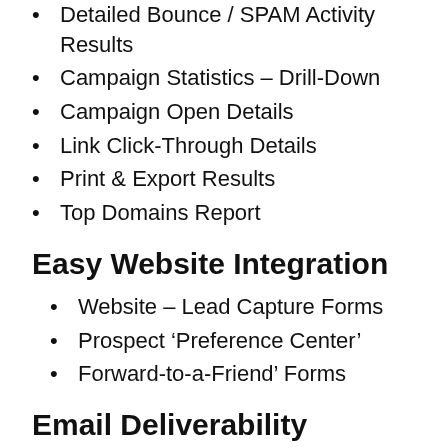Detailed Bounce / SPAM Activity Results
Campaign Statistics – Drill-Down
Campaign Open Details
Link Click-Through Details
Print & Export Results
Top Domains Report
Easy Website Integration
Website – Lead Capture Forms
Prospect 'Preference Center'
Forward-to-a-Friend' Forms
Email Deliverability